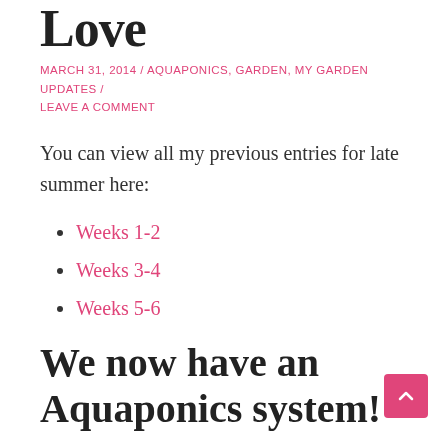Love
MARCH 31, 2014 / AQUAPONICS, GARDEN, MY GARDEN UPDATES / LEAVE A COMMENT
You can view all my previous entries for late summer here:
Weeks 1-2
Weeks 3-4
Weeks 5-6
We now have an Aquaponics system!
So we got to work setting up our Aquaponics system, Nathan is super excited. Here it is setup before we put in water and the clay beads, I'll write a post about it a few weeks showing you how we made the system but